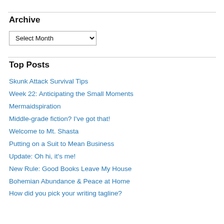Archive
[Figure (screenshot): Dropdown select widget with label 'Select Month']
Top Posts
Skunk Attack Survival Tips
Week 22: Anticipating the Small Moments
Mermaidspiration
Middle-grade fiction? I've got that!
Welcome to Mt. Shasta
Putting on a Suit to Mean Business
Update: Oh hi, it's me!
New Rule: Good Books Leave My House
Bohemian Abundance & Peace at Home
How did you pick your writing tagline?